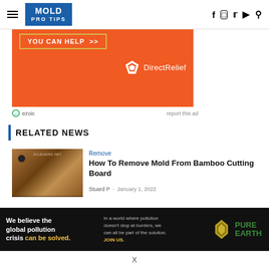MOLD PRO TIPS
[Figure (infographic): Orange Direct Relief advertisement banner with 'YOU CAN HELP >>' text and Direct Relief logo]
ezoic  report this ad
RELATED NEWS
[Figure (photo): Bamboo cutting board thumbnail photo]
Remove
How To Remove Mold From Bamboo Cutting Board
Stuard P  ·  January 1, 2022
[Figure (infographic): Pure Earth advertisement banner: 'We believe the global pollution crisis can be solved.' with Pure Earth logo]